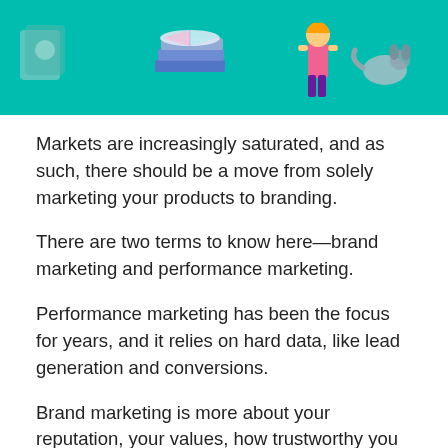[Figure (illustration): Isometric illustration on teal/turquoise background showing marketing-related icons: books/papers, a person standing, and other objects in a colorful flat design style.]
Markets are increasingly saturated, and as such, there should be a move from solely marketing your products to branding.
There are two terms to know here—brand marketing and performance marketing.
Performance marketing has been the focus for years, and it relies on hard data, like lead generation and conversions.
Brand marketing is more about your reputation, your values, how trustworthy you are, and the quality of your products. With brand marketing, you're putting yourself on display it...